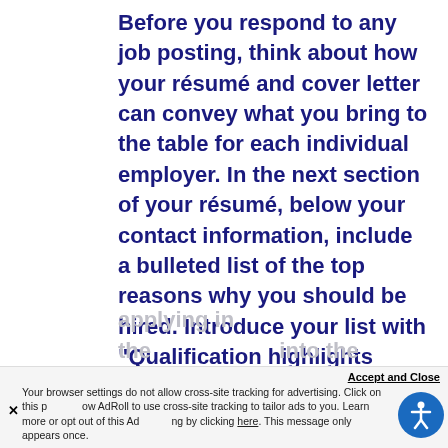Before you respond to any job posting, think about how your résumé and cover letter can convey what you bring to the table for each individual employer. In the next section of your résumé, below your contact information, include a bulleted list of the top reasons why you should be hired. Introduce your list with "Qualification highlights include." Do not use this valuable space on your résumé for a job objective; use it to sell your qualifications for the specific job. If you did not want the job, you probably would not be applying in the first place.
Your browser settings do not allow cross-site tracking for advertising. Click on this page to allow AdRoll to use cross-site tracking to tailor ads to you. Learn more or opt out of this AdRoll tracking by clicking here. This message only appears once.